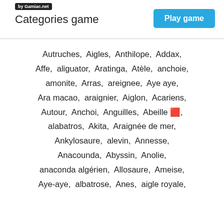by Gamiac.net
Categories game
Play game
Autruches,  Aigles,  Anthilope,  Addax,  Affe,  aliguator,  Aratinga,  Atèle,  anchoie,  amonite,  Arras,  areignee,  Aye aye,  Ara macao,  araignier,  Aiglon,  Acariens,  Autour,  Anchoi,  Anguilles,  Abeille 🔲,  alabatros,  Akita,  Araignée de mer,  Ankylosaure,  alevin,  Annesse,  Anacounda,  Abyssin,  Anolie,  anaconda algérien,  Allosaure,  Ameise,  Aye-aye,  albatrose,  Anes,  aigle royale,